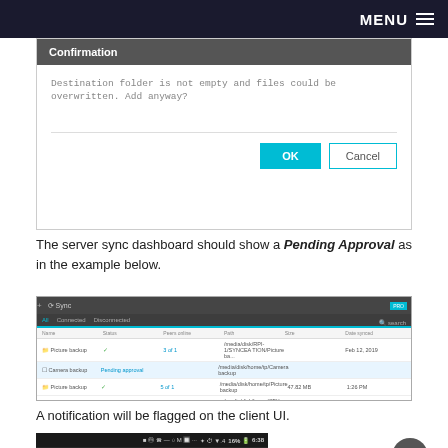MENU
[Figure (screenshot): Confirmation dialog box with title 'Confirmation', message 'Destination folder is not empty and files could be overwritten. Add anyway?' and two buttons: OK (blue filled) and Cancel (outlined)]
The server sync dashboard should show a Pending Approval as in the example below.
[Figure (screenshot): Server sync dashboard showing Sync interface with columns: Name, Status, Peers online, Path, Size, Date synced. Rows include Picture backup (checkmark), Camera backup (Pending approval in blue), Picture backup (checkmark), Documents backup (checkmark). Bottom status bar with pause button.]
A notification will be flagged on the client UI.
[Figure (screenshot): Mobile device status bar showing icons, 16% battery and 6:38 time, with a notification badge showing number 1]